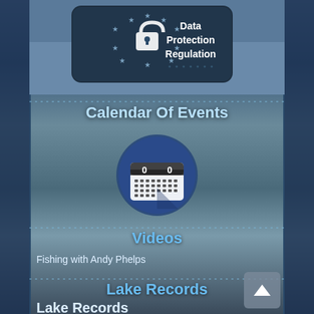[Figure (screenshot): Data Protection Regulation icon with EU stars and padlock on dark background]
Calendar Of Events
[Figure (illustration): Calendar icon with '0 0' displayed, shown as a circular dark blue button]
Videos
Fishing with Andy Phelps
Lake Records
Lake Records